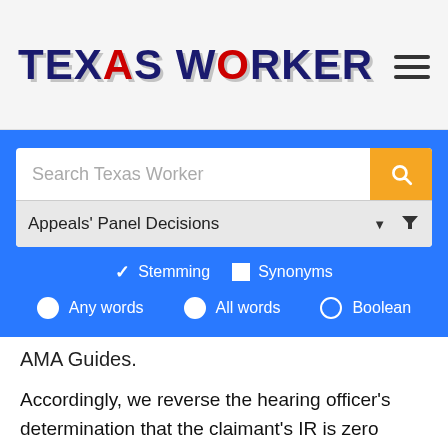TEXAS WORKER
Search Texas Worker
Appeals' Panel Decisions
Stemming  Synonyms
Any words   All words   Boolean
AMA Guides.
Accordingly, we reverse the hearing officer's determination that the claimant's IR is zero percent. We render a new decision that because the claimant is not at MMI, a determination of the claimant's IR is premature.
SUMMARY